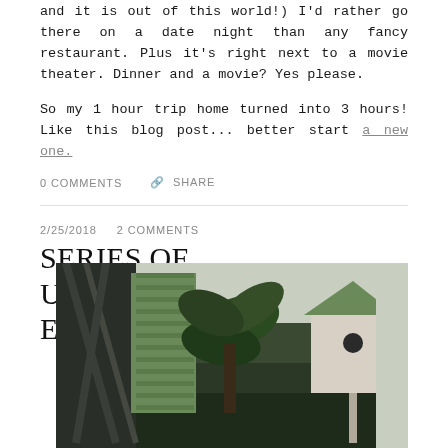and it is out of this world!) I'd rather go there on a date night than any fancy restaurant. Plus it's right next to a movie theater. Dinner and a movie? Yes please.
So my 1 hour trip home turned into 3 hours! Like this blog post... better start a new one.
0 COMMENTS    SHARE
2/25/2018    2 COMMENTS
SERIES OF UNFORTUNATE EVENTS (DAY 2)
[Figure (photo): A photo showing indoor plants, decorative metal art, and a white birdhouse with a green roof on a table or shelf]